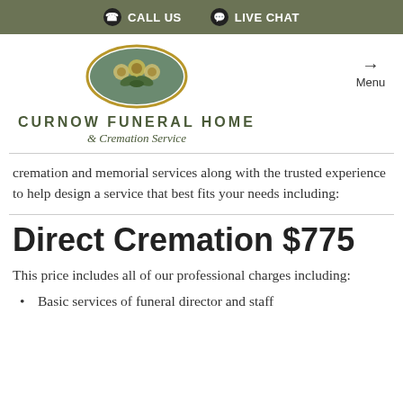CALL US   LIVE CHAT
[Figure (logo): Curnow Funeral Home & Cremation Service logo: oval with floral design]
CURNOW FUNERAL HOME & Cremation Service
cremation and memorial services along with the trusted experience to help design a service that best fits your needs including:
Direct Cremation $775
This price includes all of our professional charges including:
Basic services of funeral director and staff